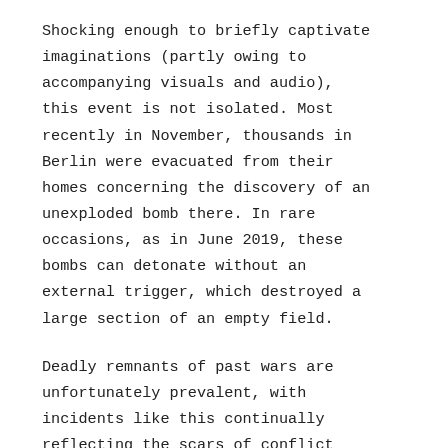Shocking enough to briefly captivate imaginations (partly owing to accompanying visuals and audio), this event is not isolated. Most recently in November, thousands in Berlin were evacuated from their homes concerning the discovery of an unexploded bomb there. In rare occasions, as in June 2019, these bombs can detonate without an external trigger, which destroyed a large section of an empty field.
Deadly remnants of past wars are unfortunately prevalent, with incidents like this continually reflecting the scars of conflict tearing across almost all nations.